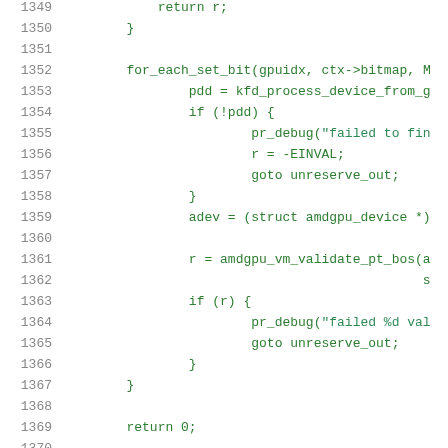[Figure (screenshot): Source code listing in C showing lines 1349-1370, with line numbers in gray on the left and code in green monospace font on a white background. The code shows a for_each_set_bit loop with GPU device validation logic.]